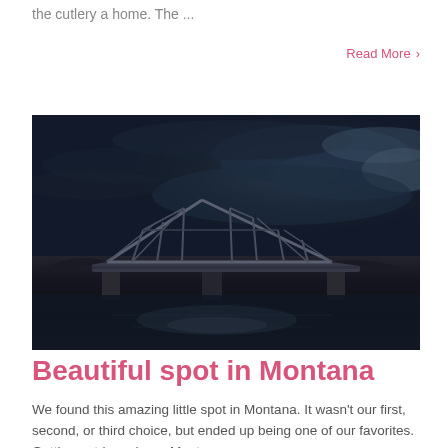the cutlery a home. The ...
Read More >
[Figure (photo): A steel truss bridge over a river under a dramatic dark blue cloudy sky at dusk or dawn, with water reflections below.]
Beautiful spot in Montana
We found this amazing little spot in Montana. It wasn't our first, second, or third choice, but ended up being one of our favorites. Getting outdoors here, Montan...